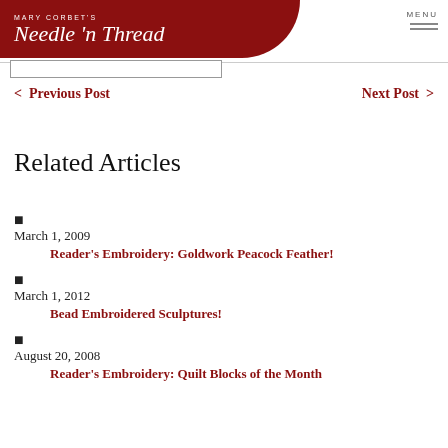Mary Corbett's Needle n Thread — MENU
< Previous Post    Next Post >
Related Articles
March 1, 2009
Reader's Embroidery: Goldwork Peacock Feather!
March 1, 2012
Bead Embroidered Sculptures!
August 20, 2008
Reader's Embroidery: Quilt Blocks of the Month